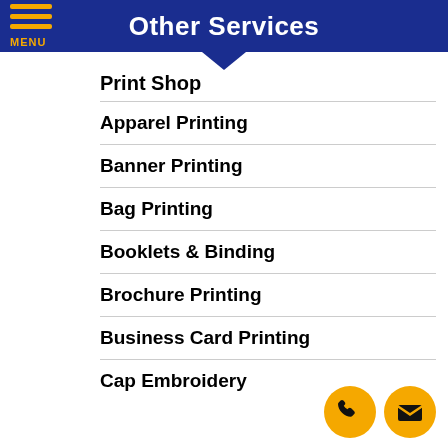Other Services
Print Shop
Apparel Printing
Banner Printing
Bag Printing
Booklets & Binding
Brochure Printing
Business Card Printing
Cap Embroidery
[Figure (illustration): Two circular gold buttons: a phone handset icon and an envelope/mail icon]